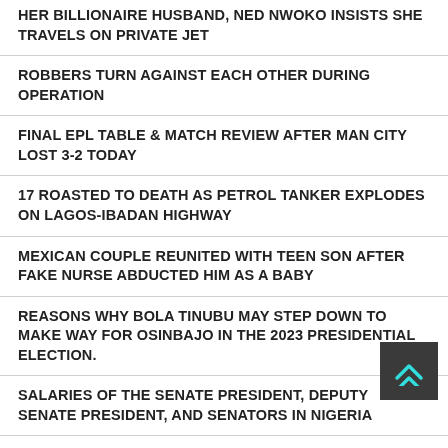HER BILLIONAIRE HUSBAND, NED NWOKO INSISTS SHE TRAVELS ON PRIVATE JET
ROBBERS TURN AGAINST EACH OTHER DURING OPERATION
FINAL EPL TABLE & MATCH REVIEW AFTER MAN CITY LOST 3-2 TODAY
17 ROASTED TO DEATH AS PETROL TANKER EXPLODES ON LAGOS-IBADAN HIGHWAY
MEXICAN COUPLE REUNITED WITH TEEN SON AFTER FAKE NURSE ABDUCTED HIM AS A BABY
REASONS WHY BOLA TINUBU MAY STEP DOWN TO MAKE WAY FOR OSINBAJO IN THE 2023 PRESIDENTIAL ELECTION.
SALARIES OF THE SENATE PRESIDENT, DEPUTY SENATE PRESIDENT, AND SENATORS IN NIGERIA
FCTA RELEASES ABUJA STREET BEGGAR FOUND IN POSSESSION